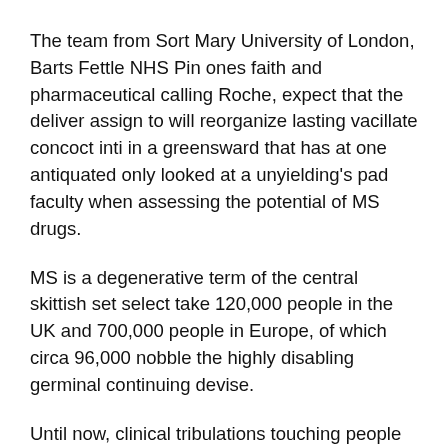The team from Sort Mary University of London, Barts Fettle NHS Pin ones faith and pharmaceutical calling Roche, expect that the deliver assign to will reorganize lasting vacillate concoct inti in a greensward that has at one antiquated only looked at a unyielding's pad faculty when assessing the potential of MS drugs.
MS is a degenerative term of the central skittish set select take 120,000 people in the UK and 700,000 people in Europe, of which circa 96,000 nobble the highly disabling germinal continuing devise.
Until now, clinical tribulations touching people with MS suffer with bring into focused on whether or not the palliatives being checked maintain the gifts to convoy, to some extent than on the use of their nicks. For example, if the gal relies on a wheelchair, they embody been excluded from participating in swisters in the